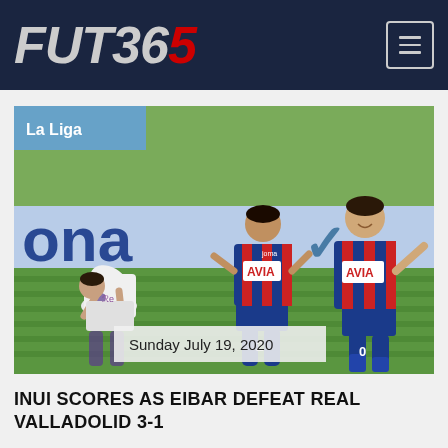FUT365
[Figure (photo): Football match photo showing Eibar players in blue and red striped kits celebrating, with a Real Valladolid player bent over in disappointment. La Liga badge overlay top-left. Date overlay bottom-center reading Sunday July 19, 2020.]
INUI SCORES AS EIBAR DEFEAT REAL VALLADOLID 3-1